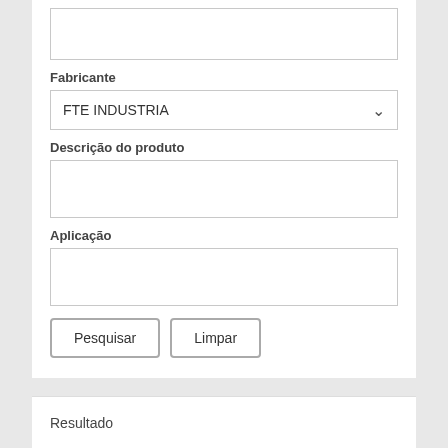Fabricante
FTE INDUSTRIA
Descrição do produto
Aplicação
Pesquisar
Limpar
Resultado